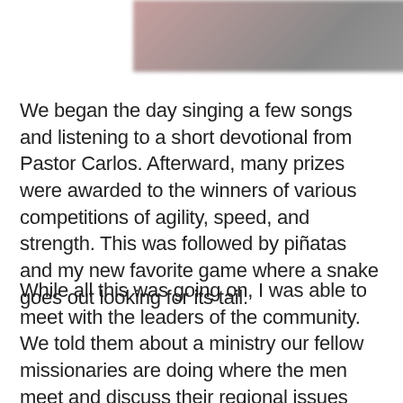[Figure (photo): Blurred/redacted image banner at the top of the page]
We began the day singing a few songs and listening to a short devotional from Pastor Carlos. Afterward, many prizes were awarded to the winners of various competitions of agility, speed, and strength. This was followed by piñatas and my new favorite game where a snake goes out looking for its tail.
While all this was going on, I was able to meet with the leaders of the community. We told them about a ministry our fellow missionaries are doing where the men meet and discuss their regional issues and how to resolve